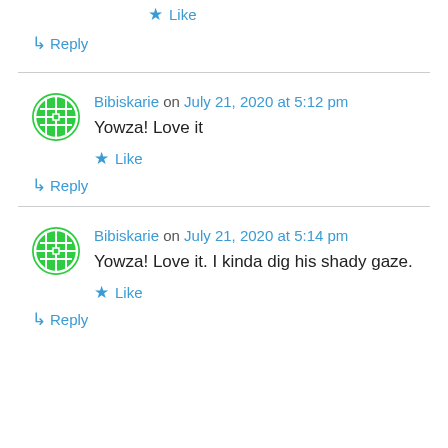★ Like
↳ Reply
Bibiskarie on July 21, 2020 at 5:12 pm
Yowza! Love it
★ Like
↳ Reply
Bibiskarie on July 21, 2020 at 5:14 pm
Yowza! Love it. I kinda dig his shady gaze.
★ Like
↳ Reply